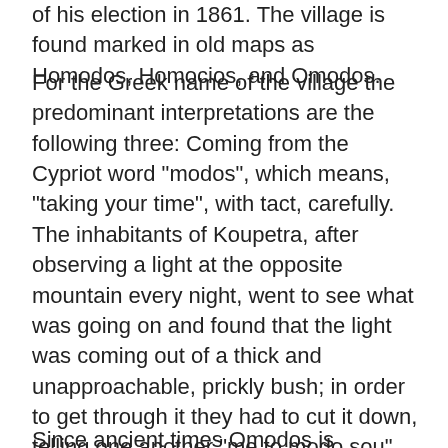of his election in 1861. The village is found marked in old maps as Homodos, Homocios, and Omodos.
For the Greek name of the village the predominant interpretations are the following three: Coming from the Cypriot word "modos", which means, "taking your time", with tact, carefully. The inhabitants of Koupetra, after observing a light at the opposite mountain every night, went to see what was going on and found that the light was coming out of a thick and unapproachable, prickly bush; in order to get through it they had to cut it down, telling one another "me to modo sou" (meaning "take your time, act carefully"), until they finally entered a cave with a wooden cross and a candle inside. Many streets that lead to the surrounding villages start from the village. Out of the adverb "omou" (with) and the word "odos" (street), Omodos was formed. It is reported in Frank documents that the feudal lord Homodeus lived in the region and it is very probable that the village was named after him.
Since ancient times Omodos is renowned for its superb